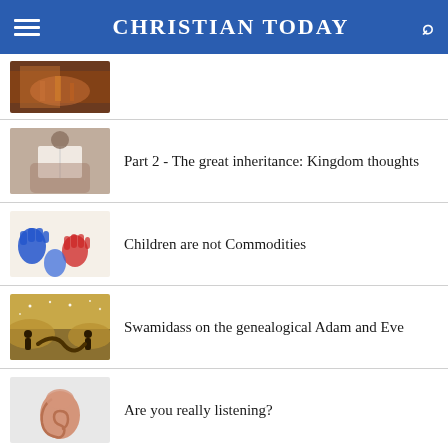CHRISTIAN TODAY
[Figure (photo): Thumbnail of warm indoor/fire scene]
[Figure (photo): Person reading a book outdoors]
Part 2 - The great inheritance: Kingdom thoughts
[Figure (photo): Colourful children's handprints in blue and red on white background]
Children are not Commodities
[Figure (photo): Illustrated scene with silhouettes of people and a snake under a starry sky]
Swamidass on the genealogical Adam and Eve
[Figure (photo): Close-up photo of a human ear on light grey background]
Are you really listening?